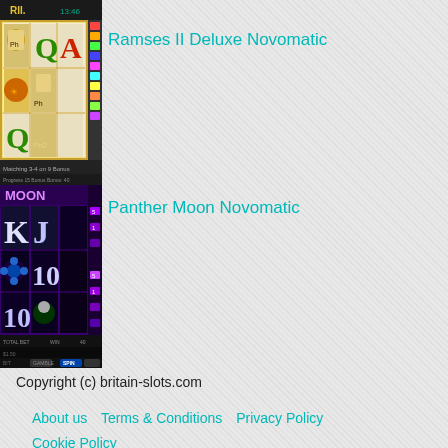[Figure (screenshot): Screenshot of Ramses II Deluxe Novomatic slot machine game with Egyptian theme, pharaoh symbols, Q and A card symbols on reels]
Ramses II Deluxe Novomatic
[Figure (screenshot): Screenshot of Panther Moon Novomatic slot machine game with dark purple theme, K J 10 card symbols, blue flower and panther symbols on reels]
Panther Moon Novomatic
Copyright (c) britain-slots.com
About us   Terms & Conditions   Privacy Policy   Cookie Policy